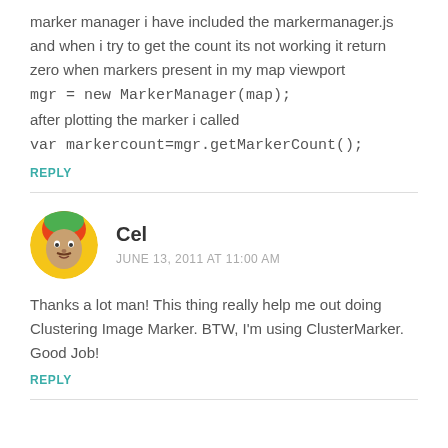marker manager i have included the markermanager.js and when i try to get the count its not working it return zero when markers present in my map viewport
mgr = new MarkerManager(map);
after plotting the marker i called
var markercount=mgr.getMarkerCount();
REPLY
Cel
JUNE 13, 2011 AT 11:00 AM
Thanks a lot man! This thing really help me out doing Clustering Image Marker. BTW, I'm using ClusterMarker. Good Job!
REPLY